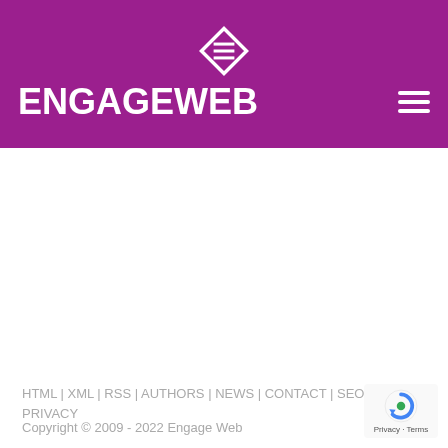[Figure (logo): Engage Web logo with diamond icon and company name on purple background with hamburger menu]
ENGAGE WEB
Web Design – Search Engine Optimisation
Content Marketing – Video Production
Social Media – Facebook Ad Management
HELLO@ENGAGEWEB.CO.UK
Tel: 0345 621 4321
HTML | XML | RSS | AUTHORS | NEWS | CONTACT | SEO TOOLS | PRIVACY
Copyright © 2009 - 2022 Engage Web